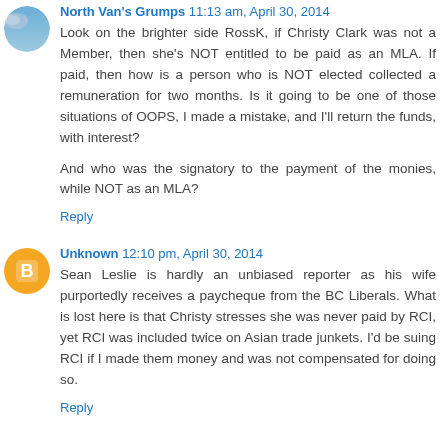North Van's Grumps 11:13 am, April 30, 2014
Look on the brighter side RossK, if Christy Clark was not a Member, then she's NOT entitled to be paid as an MLA. If paid, then how is a person who is NOT elected collected a remuneration for two months. Is it going to be one of those situations of OOPS, I made a mistake, and I'll return the funds, with interest?

And who was the signatory to the payment of the monies, while NOT as an MLA?
Reply
Unknown 12:10 pm, April 30, 2014
Sean Leslie is hardly an unbiased reporter as his wife purportedly receives a paycheque from the BC Liberals. What is lost here is that Christy stresses she was never paid by RCI, yet RCI was included twice on Asian trade junkets. I'd be suing RCI if I made them money and was not compensated for doing so.
Reply